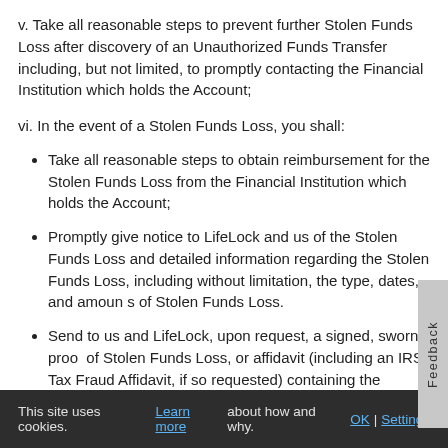v. Take all reasonable steps to prevent further Stolen Funds Loss after discovery of an Unauthorized Funds Transfer including, but not limited, to promptly contacting the Financial Institution which holds the Account;
vi. In the event of a Stolen Funds Loss, you shall:
Take all reasonable steps to obtain reimbursement for the Stolen Funds Loss from the Financial Institution which holds the Account;
Promptly give notice to LifeLock and us of the Stolen Funds Loss and detailed information regarding the Stolen Funds Loss, including without limitation, the type, dates, and amounts of Stolen Funds Loss.
Send to us and LifeLock, upon request, a signed, sworn proof of Stolen Funds Loss, or affidavit (including an IRS Tax Fraud Affidavit, if so requested) containing the information requested to investigate the Stolen Funds Loss. We shall supply you with
This site uses cookies. Learn more about how and why. OK | Settings